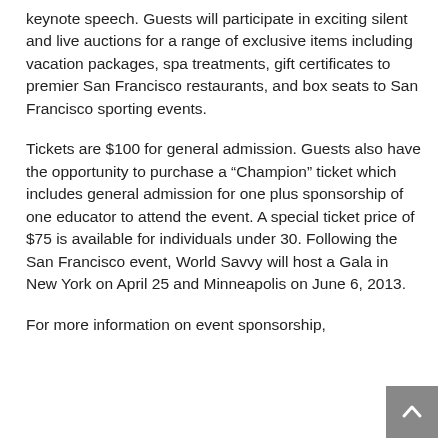keynote speech. Guests will participate in exciting silent and live auctions for a range of exclusive items including vacation packages, spa treatments, gift certificates to premier San Francisco restaurants, and box seats to San Francisco sporting events.
Tickets are $100 for general admission. Guests also have the opportunity to purchase a “Champion” ticket which includes general admission for one plus sponsorship of one educator to attend the event. A special ticket price of $75 is available for individuals under 30. Following the San Francisco event, World Savvy will host a Gala in New York on April 25 and Minneapolis on June 6, 2013.
For more information on event sponsorship,